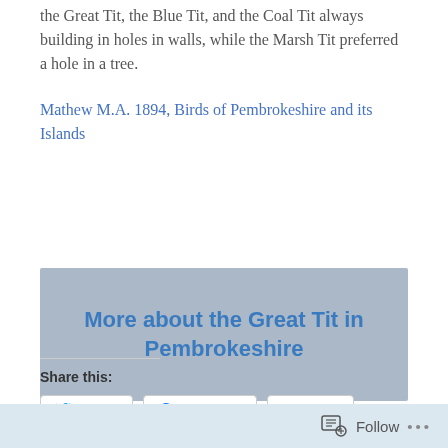the Great Tit, the Blue Tit, and the Coal Tit always building in holes in walls, while the Marsh Tit preferred a hole in a tree.
Mathew M.A. 1894, Birds of Pembrokeshire and its Islands
[Figure (other): Grey banner with blue bold text reading 'More about the Great Tit in Pembrokeshire']
Share this:
Twitter
Facebook
Email
Follow ...